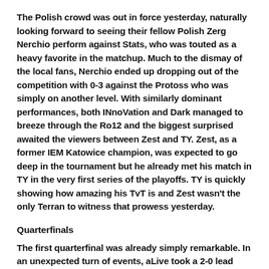The Polish crowd was out in force yesterday, naturally looking forward to seeing their fellow Polish Zerg Nerchio perform against Stats, who was touted as a heavy favorite in the matchup. Much to the dismay of the local fans, Nerchio ended up dropping out of the competition with 0-3 against the Protoss who was simply on another level. With similarly dominant performances, both INnoVation and Dark managed to breeze through the Ro12 and the biggest surprised awaited the viewers between Zest and TY. Zest, as a former IEM Katowice champion, was expected to go deep in the tournament but he already met his match in TY in the very first series of the playoffs. TY is quickly showing how amazing his TvT is and Zest wasn't the only Terran to witness that prowess yesterday.
Quarterfinals
The first quarterfinal was already simply remarkable. In an unexpected turn of events, aLive took a 2-0 lead over INnoVation who was widely regarded as the strongest player amongst the